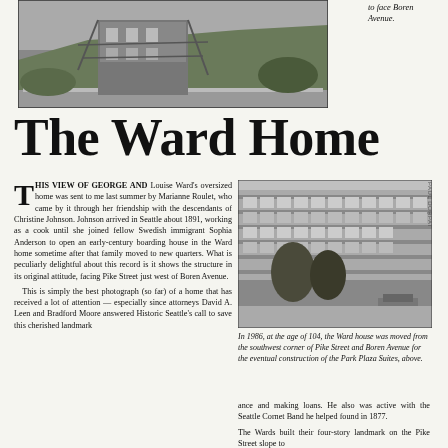[Figure (photo): Black and white photograph of the Ward Home on a hillside, showing a multi-story Victorian structure with scaffolding or supports, surrounded by vegetation and a retaining wall at the base.]
to face Boren Avenue.
The Ward Home
THIS VIEW OF GEORGE AND Louise Ward's oversized home was sent to me last summer by Marianne Roulet, who came by it through her friendship with the descendants of Christine Johnson. Johnson arrived in Seattle about 1891, working as a cook until she joined fellow Swedish immigrant Sophia Anderson to open an early-century boarding house in the Ward home sometime after that family moved to new quarters. What is peculiarly delightful about this record is it shows the structure in its original attitude, facing Pike Street just west of Boren Avenue.
This is simply the best photograph (so far) of a home that has received a lot of attention — especially since attorneys David A. Leen and Bradford Moore answered Historic Seattle's call to save this cherished landmark
[Figure (photo): Black and white photograph of a modern multi-story commercial/residential building (Park Plaza Suites) on a street corner with trees in the foreground.]
In 1986, at the age of 104, the Ward house was moved from the southwest corner of Pike Street and Boren Avenue for the eventual construction of the Park Plaza Suites, above.
ance and making loans. He also was active with the Seattle Cornet Band he helped found in 1877.
The Wards built their four-story landmark on the Pike Street slope to